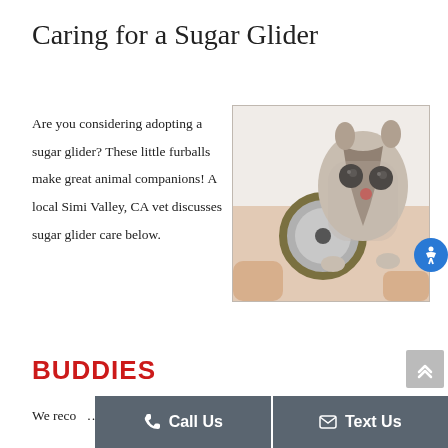Caring for a Sugar Glider
Are you considering adopting a sugar glider? These little furballs make great animal companions! A local Simi Valley, CA vet discusses sugar glider care below.
[Figure (photo): A sugar glider being examined with a stethoscope, held by a person's hands against a white background.]
BUDDIES
We reco... suga... ute pets.
Call Us
Text Us